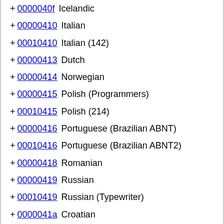+ 0000040f  Icelandic
+ 00000410  Italian
+ 00010410  Italian (142)
+ 00000413  Dutch
+ 00000414  Norwegian
+ 00000415  Polish (Programmers)
+ 00010415  Polish (214)
+ 00000416  Portuguese (Brazilian ABNT)
+ 00010416  Portuguese (Brazilian ABNT2)
+ 00000418  Romanian
+ 00000419  Russian
+ 00010419  Russian (Typewriter)
+ 0000041a  Croatian
+ 0000041b  Slovak
+ 0001041b  Slovak (QWERTY)
+ 0000041c  Albanian
+ 0000041d  Swedish